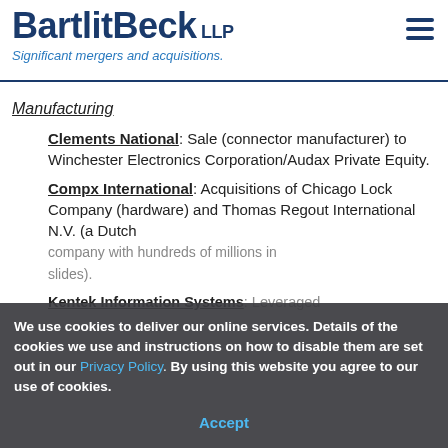BartlitBeck LLP — Significant mergers and acquisitions.
Manufacturing
Clements National: Sale (connector manufacturer) to Winchester Electronics Corporation/Audax Private Equity.
Compx International: Acquisitions of Chicago Lock Company (hardware) and Thomas Regout International N.V. (a Dutch company with hundreds of millions in sales, conducted through a leveraged public tender offer for Dutch shares).
Kentek Information Systems: Leveraged...
We use cookies to deliver our online services. Details of the cookies we use and instructions on how to disable them are set out in our Privacy Policy. By using this website you agree to our use of cookies.